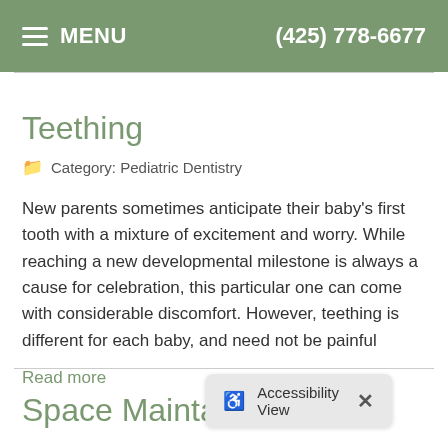MENU  (425) 778-6677
Teething
Category: Pediatric Dentistry
New parents sometimes anticipate their baby's first tooth with a mixture of excitement and worry. While reaching a new developmental milestone is always a cause for celebration, this particular one can come with considerable discomfort. However, teething is different for each baby, and need not be painful
Read more
Space Maintain…
Accessibility View